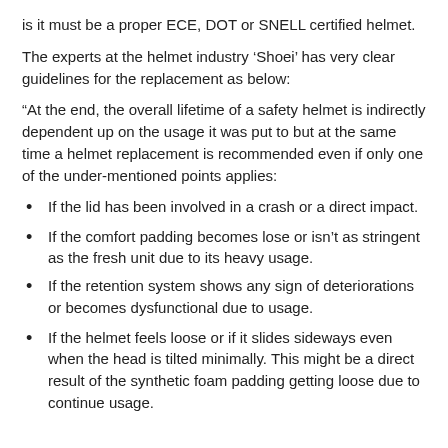is it must be a proper ECE, DOT or SNELL certified helmet.
The experts at the helmet industry ‘Shoei’ has very clear guidelines for the replacement as below:
“At the end, the overall lifetime of a safety helmet is indirectly dependent up on the usage it was put to but at the same time a helmet replacement is recommended even if only one of the under-mentioned points applies:
If the lid has been involved in a crash or a direct impact.
If the comfort padding becomes lose or isn’t as stringent as the fresh unit due to its heavy usage.
If the retention system shows any sign of deteriorations or becomes dysfunctional due to usage.
If the helmet feels loose or if it slides sideways even when the head is tilted minimally. This might be a direct result of the synthetic foam padding getting loose due to continue usage.